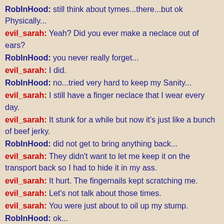RobInHood: still think about tymes...there...but ok Physically...
evil_sarah: Yeah? Did you ever make a neclace out of ears?
RobInHood: you never really forget...
evil_sarah: I did.
RobInHood: no...tried very hard to keep my Sanity...
evil_sarah: I still have a finger neclace that I wear every day.
evil_sarah: It stunk for a while but now it's just like a bunch of beef jerky.
RobInHood: did not get to bring anything back...
evil_sarah: They didn't want to let me keep it on the transport back so I had to hide it in my ass.
evil_sarah: It hurt. The fingernails kept scratching me.
evil_sarah: Let's not talk about those times.
evil_sarah: You were just about to oil up my stump.
RobInHood: ok...
evil_sarah: Keep going. Tell me what you would do next.
RobInHood: completely lost the mode...sorry...
RobInHood: mood...
evil_sarah: Come on. Pretend I'm one of those Saigon whores.
RobInHood: mind kinda wonders off to those tymes...
RobInHood: they were not really all that hot...alll skin and bones...